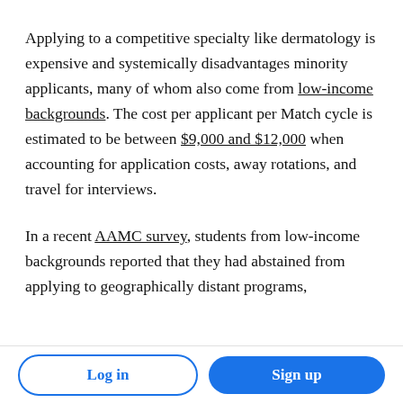Applying to a competitive specialty like dermatology is expensive and systemically disadvantages minority applicants, many of whom also come from low-income backgrounds. The cost per applicant per Match cycle is estimated to be between $9,000 and $12,000 when accounting for application costs, away rotations, and travel for interviews.
In a recent AAMC survey, students from low-income backgrounds reported that they had abstained from applying to geographically distant programs,
Log in | Sign up